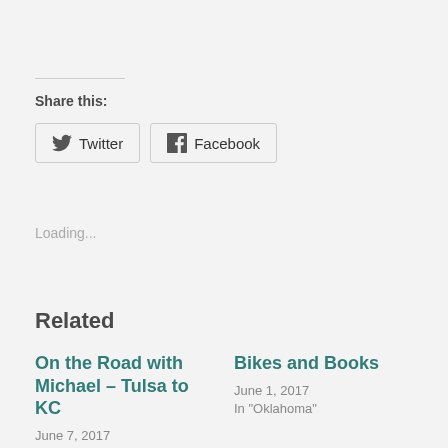Share this:
[Figure (other): Twitter and Facebook share buttons]
Loading...
Related
On the Road with Michael – Tulsa to KC
June 7, 2017
In "Michael Wallis"
Bikes and Books
June 1, 2017
In "Oklahoma"